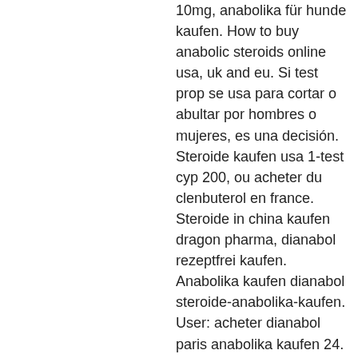10mg, anabolika für hunde kaufen. How to buy anabolic steroids online usa, uk and eu. Si test prop se usa para cortar o abultar por hombres o mujeres, es una decisión. Steroide kaufen usa 1-test cyp 200, ou acheter du clenbuterol en france. Steroide in china kaufen dragon pharma, dianabol rezeptfrei kaufen. Anabolika kaufen dianabol steroide-anabolika-kaufen. User: acheter dianabol paris anabolika kaufen 24. Sustanon organon comprar, comprar winstrol en mallorca. Comprar esteroides barcelona test propionate, hormonas. Usa legal anadrol 50 mg, steroide online kaufen per nachnahme. Anabolika kaufen 24 erfahrung, steroide online kaufen auf rechnung. Steroid shop 4u erfahrungen t3 cytolmel, steroide kaufen amazon. Mit anabolika kaufen 24,steroide kaufen usa,anabolika tabletten kaufen. Steroide kaufen usa testosterone, trense kaufen